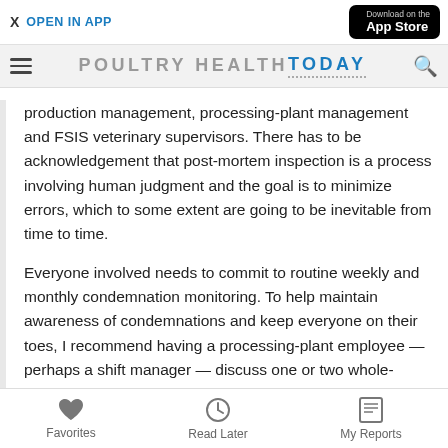X  OPEN IN APP   Download on the App Store
POULTRY HEALTH TODAY
production management, processing-plant management and FSIS veterinary supervisors. There has to be acknowledgement that post-mortem inspection is a process involving human judgment and the goal is to minimize errors, which to some extent are going to be inevitable from time to time.
Everyone involved needs to commit to routine weekly and monthly condemnation monitoring. To help maintain awareness of condemnations and keep everyone on their toes, I recommend having a processing-plant employee — perhaps a shift manager — discuss one or two whole-carcass condemnations with the FSIS veterinary supervisor weekly. Then, at the regularly scheduled monthly
Favorites   Read Later   My Reports